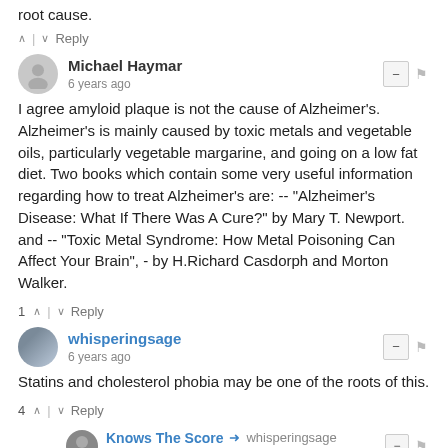root cause.
^ | v Reply
Michael Haymar
6 years ago
I agree amyloid plaque is not the cause of Alzheimer's. Alzheimer's is mainly caused by toxic metals and vegetable oils, particularly vegetable margarine, and going on a low fat diet. Two books which contain some very useful information regarding how to treat Alzheimer's are: -- "Alzheimer's Disease: What If There Was A Cure?" by Mary T. Newport. and -- "Toxic Metal Syndrome: How Metal Poisoning Can Affect Your Brain", - by H.Richard Casdorph and Morton Walker.
1 ^ | v Reply
whisperingsage
6 years ago
Statins and cholesterol phobia may be one of the roots of this.
4 ^ | v Reply
Knows The Score → whisperingsage
6 years ago